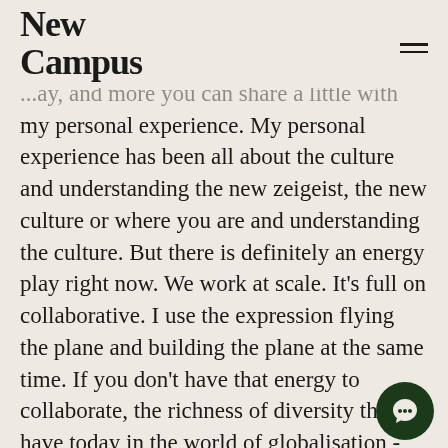New Campus
...ay, and more you can share a little with my personal experience. My personal experience has been all about the culture and understanding the new zeigeist, the new culture or where you are and understanding the culture. But there is definitely an energy play right now. We work at scale. It's full on collaborative. I use the expression flying the plane and building the plane at the same time. If you don't have that energy to collaborate,  the richness of diversity that we have today in the world of globalisation - we are everywhere - you really need to be interested in collaborating with others.